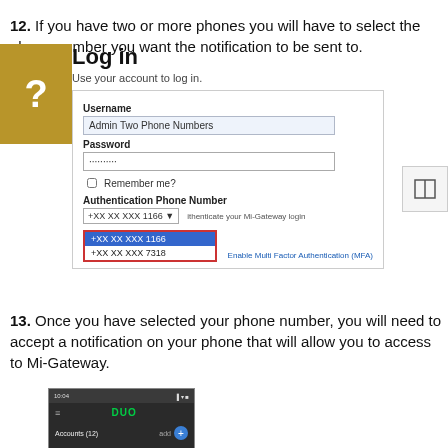12. If you have two or more phones you will have to select the phone number you want the notification to be sent to.
[Figure (screenshot): Login form screenshot showing Username field with 'Admin Two Phone Numbers', Password field with dots, Remember me checkbox, Authentication Phone Number dropdown showing +XX XX XXX 1166 selected and +XX XX XXX 7318 as second option in a red-bordered dropdown popup, Agree to Terms and Login button, Terms and Conditions and Enable Multi Factor Authentication (MFA) links. Gold question mark icon box on the left with 'Log in' heading and 'Use your account to log in.' subtext.]
13. Once you have selected your phone number, you will need to accept a notification on your phone that will allow you to access to Mi-Gateway.
[Figure (screenshot): Mobile phone screenshot showing a Duo app interface with time 10:04, DUO logo in green, Accounts (12) section with add button.]